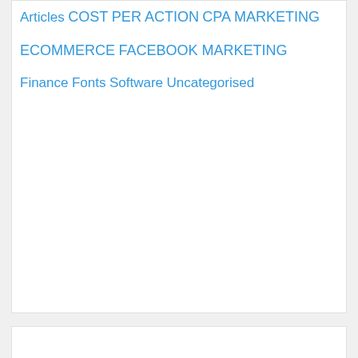Articles
COST PER ACTION
CPA MARKETING
ECOMMERCE
FACEBOOK MARKETING
Finance
Fonts
Software
Uncategorised